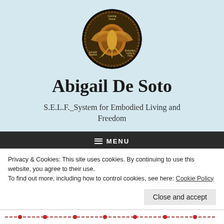[Figure (logo): Circular logo with ornate gold/brown design featuring anatomical or symbolic imagery with text labels including 'Somatic Practice', 'Embodied Living & Flow', 'Coming Home']
Abigail De Soto
S.E.L.F._System for Embodied Living and Freedom
MENU
Privacy & Cookies: This site uses cookies. By continuing to use this website, you agree to their use.
To find out more, including how to control cookies, see here: Cookie Policy
Close and accept